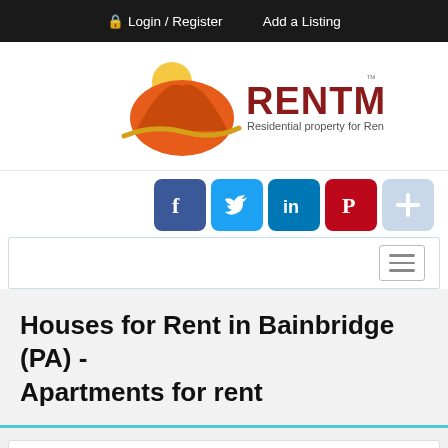Login / Register   Add a Listing
[Figure (logo): RENTMLS logo with orange sun/hat graphic and text 'RENTMLS Residential property for Rent']
[Figure (infographic): Social media share icons: Facebook, Twitter, LinkedIn, Pinterest, and a plus button]
[Figure (infographic): Navigation bar with hamburger menu icon on the right]
Houses for Rent in Bainbridge (PA) - Apartments for rent